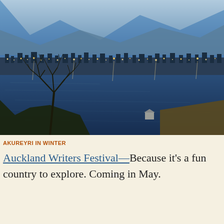[Figure (photo): Aerial twilight view of Akureyri, Iceland in winter, showing a coastal town with lights reflecting on the fjord, snow-covered mountains in the background, and bare tree branches in the foreground.]
AKUREYRI IN WINTER
Auckland Writers Festival—Because it’s a fun country to explore. Coming in May.